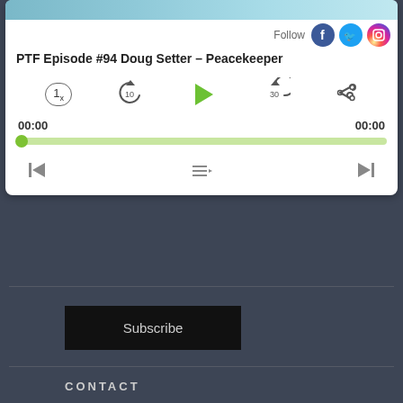[Figure (screenshot): Podcast player widget showing episode PTF Episode #94 Doug Setter – Peacekeeper with playback controls, progress bar at 00:00, speed button 1x, skip back 10s, play button, skip forward 30s, share, previous track, playlist, next track buttons. Follow icons for Facebook, Twitter, Instagram visible top right.]
[Figure (screenshot): Subscribe button - black rectangle with white Subscribe text]
CONTACT